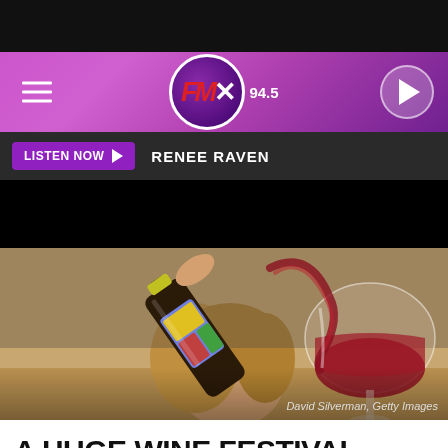FMX 94.5
LISTEN NOW   RENEE RAVEN
[Figure (photo): Woman pouring red wine from a colorfully painted wine bottle into a large wine glass, smiling. Photo credit: David Silverman, Getty Images]
David Silverman, Getty Images
A HUGE WINE FESTIVAL WILL BE